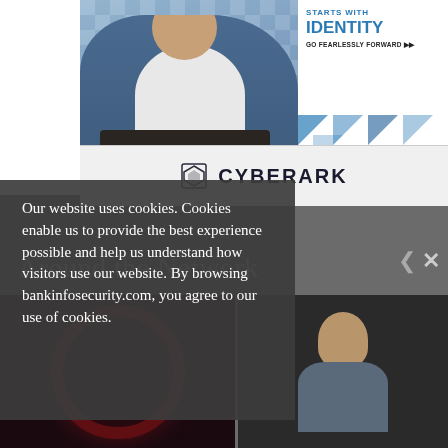[Figure (photo): Advertisement banner showing a man working on a laptop with CyberARK branding. Text reads 'IDENTITY GO FEARLESSLY FORWARD' with blue triangles and white background on right side.]
Our website uses cookies. Cookies enable us to provide the best experience possible and help us understand how visitors use our website. By browsing bankinfosecurity.com, you agree to our use of cookies.
Around the Network
[Figure (photo): Dark thumbnail image with a red circular spiral design on dark background.]
[Figure (photo): Dark thumbnail image showing a person, likely a man, smiling, against a dark background.]